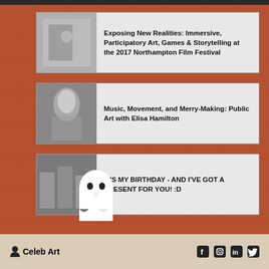[Figure (infographic): Brick wall background with three article/post cards each containing a thumbnail image and title text, plus a ghost icon in the lower section]
Exposing New Realities: Immersive, Participatory Art, Games & Storytelling at the 2017 Northampton Film Festival
Music, Movement, and Merry-Making: Public Art with Elisa Hamilton
IT'S MY BIRTHDAY - AND I'VE GOT A PRESENT FOR YOU! :D
Celeb Art  [social icons: Facebook, Instagram, LinkedIn, Twitter]